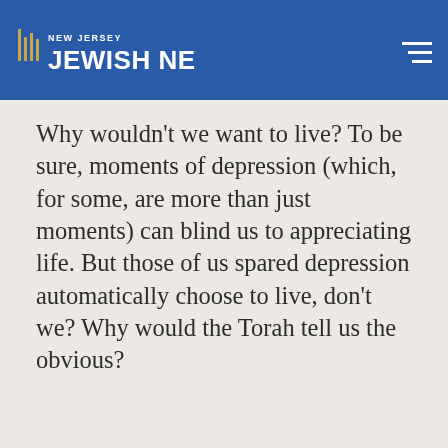New Jersey Jewish News
Why wouldn't we want to live? To be sure, moments of depression (which, for some, are more than just moments) can blind us to appreciating life. But those of us spared depression automatically choose to live, don't we? Why would the Torah tell us the obvious?